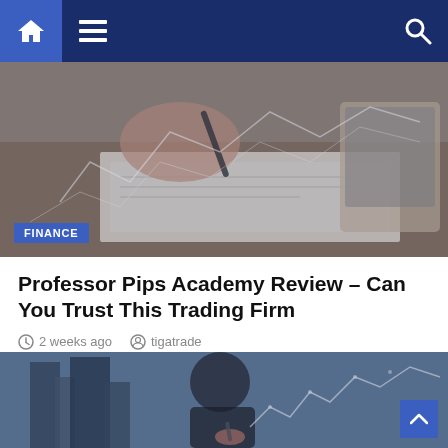Navigation bar with home, menu, and search icons
[Figure (photo): Person writing on documents at a desk with financial charts overlay and laptop in background. FINANCE badge overlay in bottom left.]
Professor Pips Academy Review – Can You Trust This Trading Firm
2 weeks ago   tigatrade
[Figure (photo): Person in suit with a city skyline background and financial line chart overlay, holding a pen.]